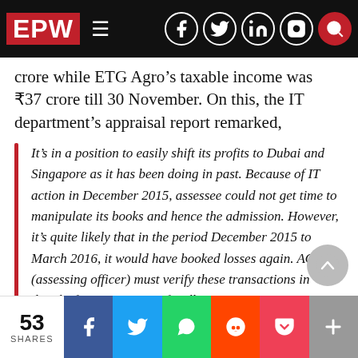EPW [navigation bar with social icons]
crore while ETG Agro’s taxable income was ₹37 crore till 30 November. On this, the IT department’s appraisal report remarked,
It’s in a position to easily shift its profits to Dubai and Singapore as it has been doing in past. Because of IT action in December 2015, assessee could not get time to manipulate its books and hence the admission. However, it’s quite likely that in the period December 2015 to March 2016, it would have booked losses again. AO (assessing officer) must verify these transactions in detail. If so, assistance of Delhi Investigation Wing may be sought.
53 SHARES [social share buttons: Facebook, Twitter, WhatsApp, Reddit, Pocket, More]